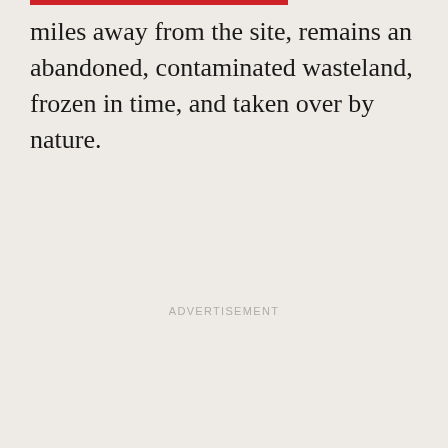miles away from the site, remains an abandoned, contaminated wasteland, frozen in time, and taken over by nature.
ADVERTISEMENT